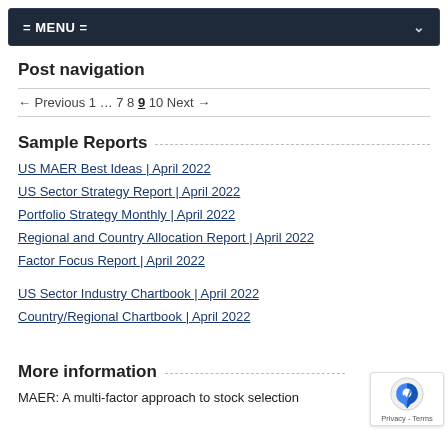= MENU =
Post navigation
← Previous 1 … 7 8 9 10 Next →
Sample Reports
US MAER Best Ideas | April 2022
US Sector Strategy Report | April 2022
Portfolio Strategy Monthly | April 2022
Regional and Country Allocation Report | April 2022
Factor Focus Report | April 2022
US Sector Industry Chartbook | April 2022
Country/Regional Chartbook | April 2022
More information
MAER: A multi-factor approach to stock selection